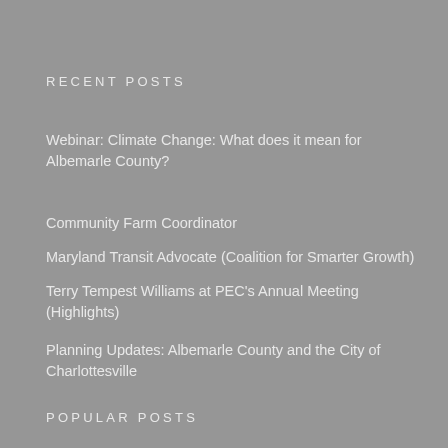RECENT POSTS
Webinar: Climate Change: What does it mean for Albemarle County?
Community Farm Coordinator
Maryland Transit Advocate (Coalition for Smarter Growth)
Terry Tempest Williams at PEC's Annual Meeting (Highlights)
Planning Updates: Albemarle County and the City of Charlottesville
POPULAR POSTS